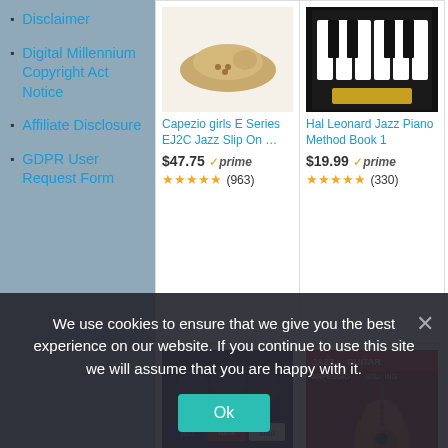Disclaimer
Digital Millennium Copyright Act Notice
Affiliate Disclosure
GDPR User Request Form
[Figure (photo): Capezio jazz slip-on shoe product photo on white background]
Capezio girls E Series EJ2C Jazz Slip On …
$47.75 ✓prime ★★★★★ (963)
[Figure (photo): Piano keys close-up product photo]
Hal Leonard Jazz Piano Method Book 1
$19.99 ✓prime ★★★★★ (330)
[Figure (photo): Jazz Funk Soul Forecast album cover with three musicians]
Forecast
[Figure (photo): Jazz Guitar Arpeggio Soloing book cover with red guitar]
We use cookies to ensure that we give you the best experience on our website. If you continue to use this site we will assume that you are happy with it.
Ok